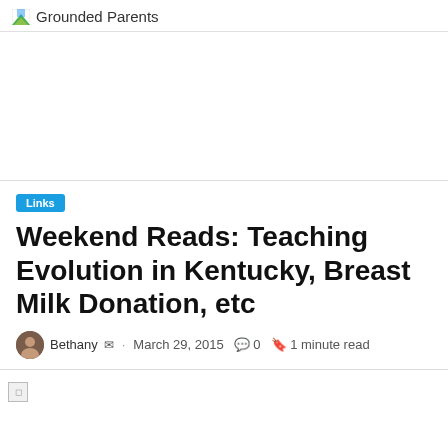Grounded Parents
[Figure (other): Advertisement/blank area]
Links
Weekend Reads: Teaching Evolution in Kentucky, Breast Milk Donation, etc
Bethany · March 29, 2015  0  1 minute read
[Figure (other): Broken image placeholder at bottom]